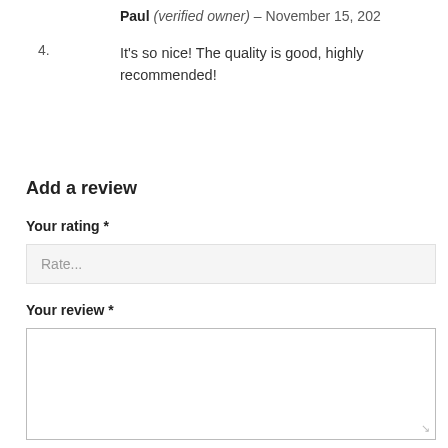Paul (verified owner) – November 15, 202…
4.
It’s so nice! The quality is good, highly recommended!
Add a review
Your rating *
Rate...
Your review *